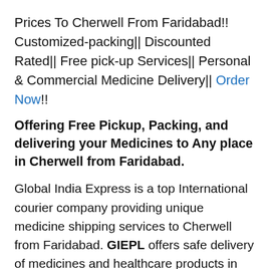Prices To Cherwell From Faridabad!! Customized-packing|| Discounted Rated|| Free pick-up Services|| Personal & Commercial Medicine Delivery|| Order Now!!
Offering Free Pickup, Packing, and delivering your Medicines to Any place in Cherwell from Faridabad.
Global India Express is a top International courier company providing unique medicine shipping services to Cherwell from Faridabad. GIEPL offers safe delivery of medicines and healthcare products in Cherwell From Any place in Faridabad. Essential and lifesaving medications available in Faridabad can now be delivered to your doorstep through our medicine and healthcare services at affordable prices. You can get in touch with our